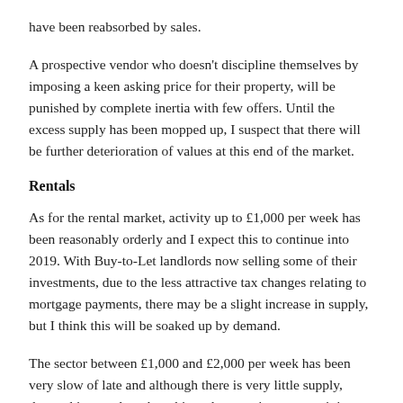have been reabsorbed by sales.
A prospective vendor who doesn't discipline themselves by imposing a keen asking price for their property, will be punished by complete inertia with few offers. Until the excess supply has been mopped up, I suspect that there will be further deterioration of values at this end of the market.
Rentals
As for the rental market, activity up to £1,000 per week has been reasonably orderly and I expect this to continue into 2019. With Buy-to-Let landlords now selling some of their investments, due to the less attractive tax changes relating to mortgage payments, there may be a slight increase in supply, but I think this will be soaked up by demand.
The sector between £1,000 and £2,000 per week has been very slow of late and although there is very little supply, demand is even less than this and properties are remaining on the market